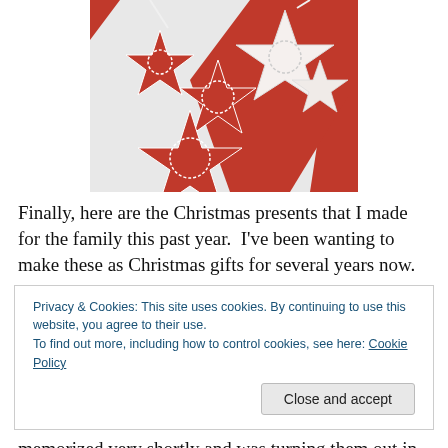[Figure (photo): Photo of red and white crocheted star ornaments laid on a white and red fabric/ribbon background]
Finally, here are the Christmas presents that I made for the family this past year.  I've been wanting to make these as Christmas gifts for several years now.
Privacy & Cookies: This site uses cookies. By continuing to use this website, you agree to their use.
To find out more, including how to control cookies, see here: Cookie Policy
[Close and accept]
memorized very shortly and was turning them out in 30